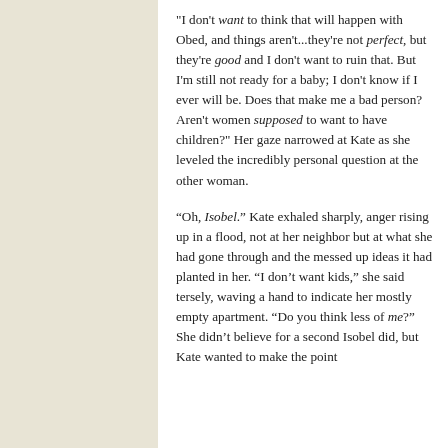"I don't want to think that will happen with Obed, and things aren't...they're not perfect, but they're good and I don't want to ruin that. But I'm still not ready for a baby; I don't know if I ever will be. Does that make me a bad person? Aren't women supposed to want to have children?" Her gaze narrowed at Kate as she leveled the incredibly personal question at the other woman.
“Oh, Isobel.” Kate exhaled sharply, anger rising up in a flood, not at her neighbor but at what she had gone through and the messed up ideas it had planted in her. “I don’t want kids,” she said tersely, waving a hand to indicate her mostly empty apartment. “Do you think less of me?” She didn’t believe for a second Isobel did, but Kate wanted to make the point